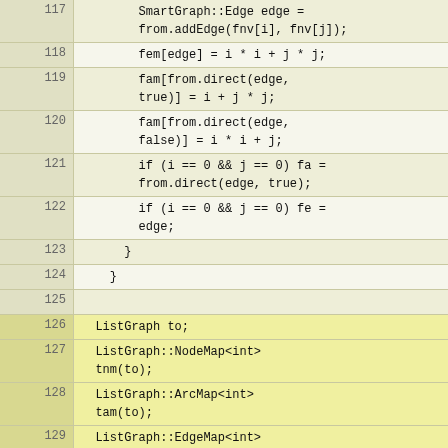[Figure (screenshot): Source code listing showing C++ code lines 117-137 with line numbers on the left, featuring SmartGraph and ListGraph operations including addEdge, NodeMap, ArcMap, EdgeMap declarations. Some lines (126-132) are highlighted in yellow.]